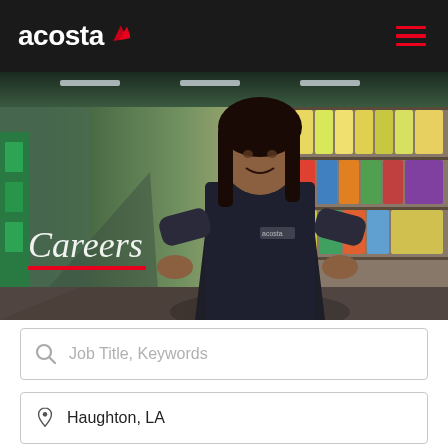acosta
[Figure (photo): Acosta Careers hero banner showing a smiling woman in an Acosta uniform polo shirt standing in a grocery store aisle with shelves of products in the background. Text overlay reads 'Careers' with a red underline.]
Job Title, Keywords
Haughton, LA
SEARCH